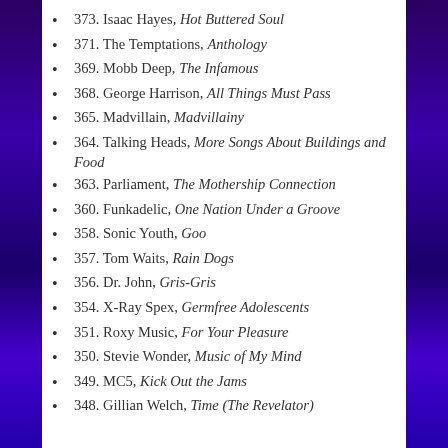373. Isaac Hayes, Hot Buttered Soul
371. The Temptations, Anthology
369. Mobb Deep, The Infamous
368. George Harrison, All Things Must Pass
365. Madvillain, Madvillainy
364. Talking Heads, More Songs About Buildings and Food
363. Parliament, The Mothership Connection
360. Funkadelic, One Nation Under a Groove
358. Sonic Youth, Goo
357. Tom Waits, Rain Dogs
356. Dr. John, Gris-Gris
354. X-Ray Spex, Germfree Adolescents
351. Roxy Music, For Your Pleasure
350. Stevie Wonder, Music of My Mind
349. MC5, Kick Out the Jams
348. Gillian Welch, Time (The Revelator)